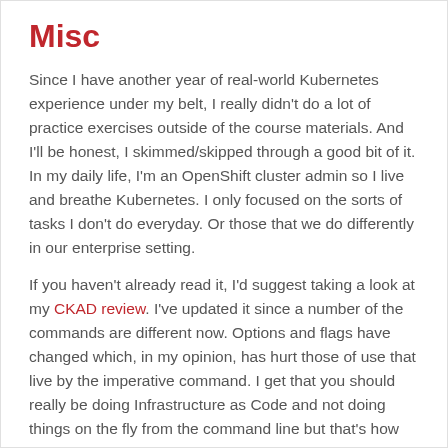Misc
Since I have another year of real-world Kubernetes experience under my belt, I really didn't do a lot of practice exercises outside of the course materials. And I'll be honest, I skimmed/skipped through a good bit of it. In my daily life, I'm an OpenShift cluster admin so I live and breathe Kubernetes. I only focused on the sorts of tasks I don't do everyday. Or those that we do differently in our enterprise setting.
If you haven't already read it, I'd suggest taking a look at my CKAD review. I've updated it since a number of the commands are different now. Options and flags have changed which, in my opinion, has hurt those of use that live by the imperative command. I get that you should really be doing Infrastructure as Code and not doing things on the fly from the command line but that's how the exam is geared.
One point of interest is that the exam was reduced in